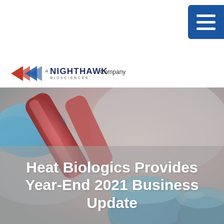[Figure (logo): Heat Biologics flame and text logo with 'A NightHawk Biosciences Company' sub-logo]
[Figure (photo): Close-up photograph of blue-gloved hands holding red/pink test tubes in a lab setting, with blurred blue lab equipment caps in foreground]
Heat Biologics Provides Year-End 2021 Business Update